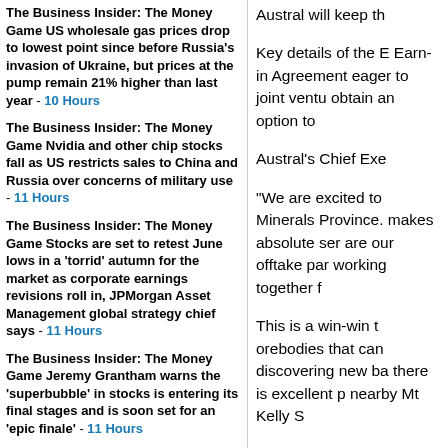The Business Insider: The Money Game US wholesale gas prices drop to lowest point since before Russia's invasion of Ukraine, but prices at the pump remain 21% higher than last year - 10 Hours
The Business Insider: The Money Game Nvidia and other chip stocks fall as US restricts sales to China and Russia over concerns of military use - 11 Hours
The Business Insider: The Money Game Stocks are set to retest June lows in a 'torrid' autumn for the market as corporate earnings revisions roll in, JPMorgan Asset Management global strategy chief says - 11 Hours
The Business Insider: The Money Game Jeremy Grantham warns the 'superbubble' in stocks is entering its final stages and is soon set for an 'epic finale' - 11 Hours
The Business Insider: The Money Game US stocks extend losing streak as drop in jobless claims adds to fears of aggressive Fed rate hikes - 11 Hours
Pound in biggest monthly fall against the dollar since 2016 - 12 Hours
The Business Insider: The Money Game 'Big Short' investor Michael Burry warned the biggest market bubble in history would end with the 'mother of all crashes.' He just hinted the collapse is now underway. - 14 Hours
Pound slides as fears mount for UK economy - 14 Hours
The Business Insider: The Money Game Kremlin set to receive $10 billion from state-run gas company Gazprom after it saw record profits this year - 16 Hours
IMF Agrees to Provide Crisis-Hit Sri Lanka $2.9 Billion - 18 Hours
Austral will keep th
Key details of the E Earn-in Agreement eager to joint ventu obtain an option to
Austral's Chief Exe
"We are excited to Minerals Province. makes absolute sen are our offtake par working together f
This is a win-win t orebodies that can discovering new ba there is excellent p nearby Mt Kelly S
The prospectivity o (Heli-VTEM and a and processed earl JV and drilling is